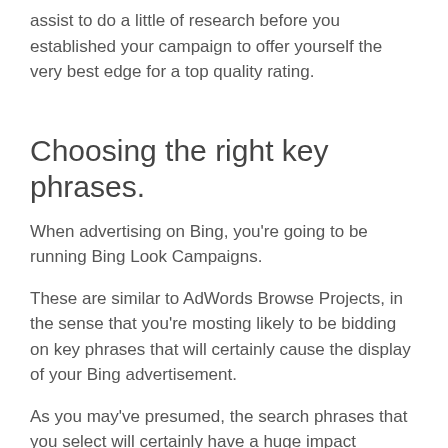assist to do a little of research before you established your campaign to offer yourself the very best edge for a top quality rating.
Choosing the right key phrases.
When advertising on Bing, you're going to be running Bing Look Campaigns.
These are similar to AdWords Browse Projects, in the sense that you're mosting likely to be bidding on key phrases that will certainly cause the display of your Bing advertisement.
As you may've presumed, the search phrases that you select will certainly have a huge impact